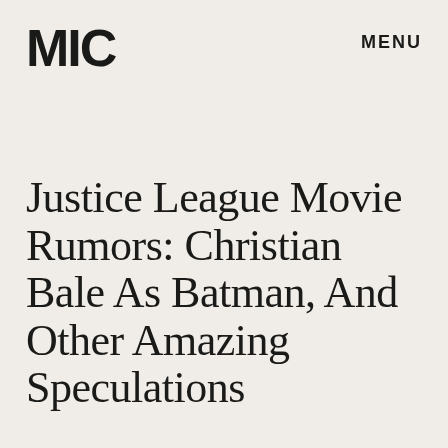MIC   MENU
Justice League Movie Rumors: Christian Bale As Batman, And Other Amazing Speculations